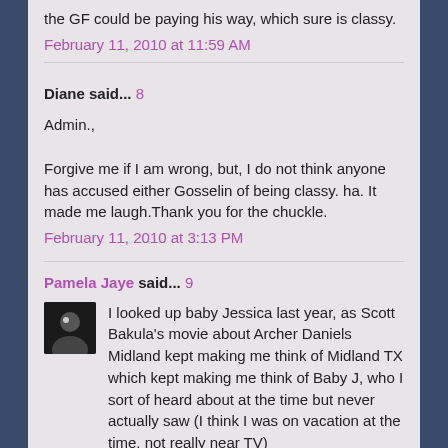the GF could be paying his way, which sure is classy.
February 11, 2010 at 11:59 AM
Diane said... 8
Admin.,

Forgive me if I am wrong, but, I do not think anyone has accused either Gosselin of being classy. ha. It made me laugh.Thank you for the chuckle.
February 11, 2010 at 3:13 PM
Pamela Jaye said... 9
I looked up baby Jessica last year, as Scott Bakula's movie about Archer Daniels Midland kept making me think of Midland TX which kept making me think of Baby J, who I sort of heard about at the time but never actually saw (I think I was on vacation at the time, not really near TV)

Good for her parents. I also read that one of the